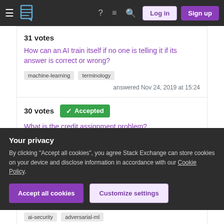Stack Exchange navigation bar with hamburger menu, logo, help, chat, search icons, Log in and Sign up buttons
31 votes
How can an AI train itself if no one is telling it if its answer is correct or wrong?
machine-learning  terminology  answered Nov 24, 2019 at 15:24
30 votes  ✓ Accepted
What is the credit assignment problem?
reinforcement-learning  definitions  credit-assignment-problem  answered Jun 18, 2019 at 0:35
Your privacy
By clicking "Accept all cookies", you agree Stack Exchange can store cookies on your device and disclose information in accordance with our Cookie Policy.
Accept all cookies  Customize settings
ai-security  adversarial-ml